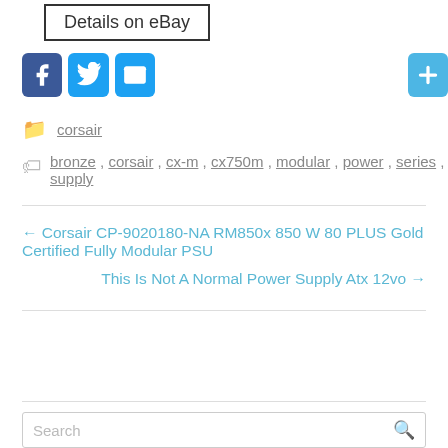[Figure (screenshot): Button with text 'Details on eBay' in a rectangular border]
[Figure (infographic): Social sharing icons: Facebook (blue f), Twitter (blue bird), Email (blue envelope), and a blue plus/add button]
corsair (category link with folder icon)
bronze , corsair , cx-m , cx750m , modular , power , series , supply (tag links with tag icon)
← Corsair CP-9020180-NA RM850x 850 W 80 PLUS Gold Certified Fully Modular PSU
This Is Not A Normal Power Supply Atx 12vo →
Search